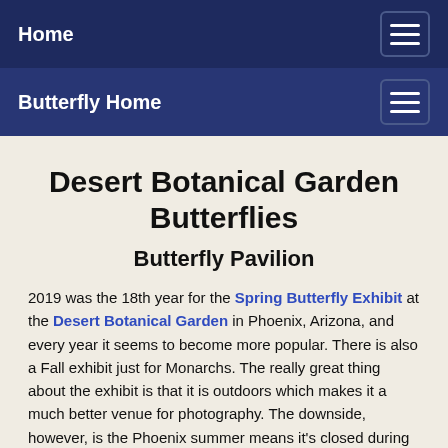Home
Butterfly Home
Desert Botanical Garden Butterflies
Butterfly Pavilion
2019 was the 18th year for the Spring Butterfly Exhibit at the Desert Botanical Garden in Phoenix, Arizona, and every year it seems to become more popular. There is also a Fall exhibit just for Monarchs. The really great thing about the exhibit is that it is outdoors which makes it a much better venue for photography. The downside, however, is the Phoenix summer means it's closed during